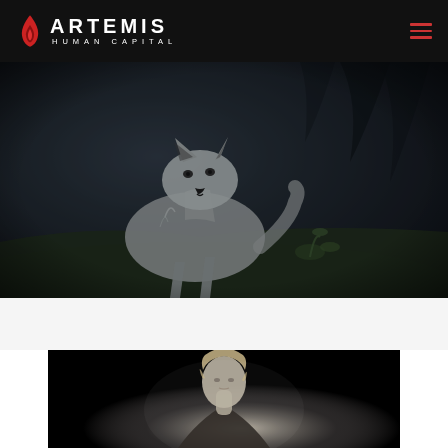[Figure (logo): Artemis Human Capital logo with red flame icon and white text on black background]
[Figure (photo): A grey wolf standing in a dark forest setting, looking directly at camera]
[Figure (photo): Black and white portrait photo of a person, partially visible at bottom of page]